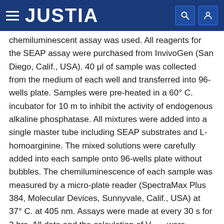JUSTIA
chemiluminescent assay was used. All reagents for the SEAP assay were purchased from InvivoGen (San Diego, Calif., USA). 40 μl of sample was collected from the medium of each well and transferred into 96-wells plate. Samples were pre-heated in a 60° C. incubator for 10 m to inhibit the activity of endogenous alkaline phosphatase. All mixtures were added into a single master tube including SEAP substrates and L-homoarginine. The mixed solutions were carefully added into each sample onto 96-wells plate without bubbles. The chemiluminescence of each sample was measured by a micro-plate reader (SpectraMax Plus 384, Molecular Devices, Sunnyvale, Calif., USA) at 37° C. at 405 nm. Assays were made at every 30 s for 2 hrs. All data and the calculation of Vmax were acquired by a SoftMax Pro 5.4.1 (Molecular Devices).